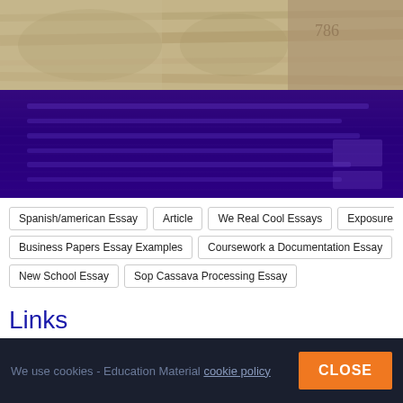[Figure (photo): Hero image showing US dollar bills (top half) and a dark purple/indigo overlay with horizontal lines (bottom half), forming a composite banner image.]
Spanish/american Essay
Article
We Real Cool Essays
Exposure Part 2 Analysis Essay
Business Papers Essay Examples
Coursework a Documentation Essay
Banglore essay Essa
New School Essay
Sop Cassava Processing Essay
Links
We use cookies - Education Material cookie policy CLOSE